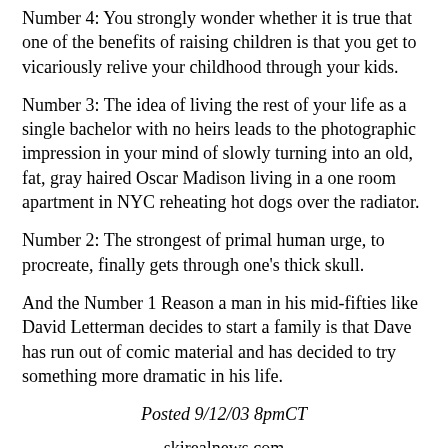Number 4: You strongly wonder whether it is true that one of the benefits of raising children is that you get to vicariously relive your childhood through your kids.
Number 3: The idea of living the rest of your life as a single bachelor with no heirs leads to the photographic impression in your mind of slowly turning into an old, fat, gray haired Oscar Madison living in a one room apartment in NYC reheating hot dogs over the radiator.
Number 2: The strongest of primal human urge, to procreate, finally gets through one's thick skull.
And the Number 1 Reason a man in his mid-fifties like David Letterman decides to start a family is that Dave has run out of comic material and has decided to try something more dramatic in his life.
Posted 9/12/03 8pmCT
skirealnews.com